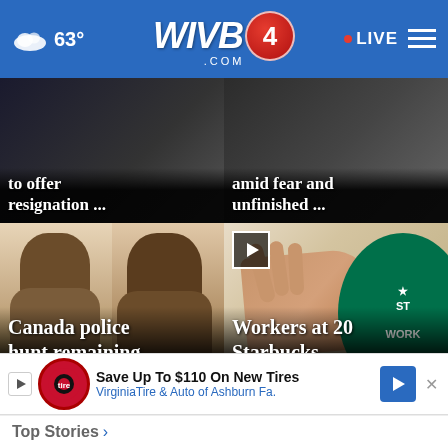63° WIVB4.COM · LIVE
[Figure (screenshot): News card showing partial headline: to offer resignation ...]
[Figure (screenshot): News card showing partial headline: amid fear and unfinished ...]
[Figure (photo): Canada police hunt remaining suspect in stabbing ... — Two mugshot-style photos]
Canada police hunt remaining suspect in stabbing ...
[Figure (photo): Workers at 20 Starbucks locations to picket Tuesday — Hand pressing against wall, Starbucks Workers logo]
Workers at 20 Starbucks locations to picket Tuesday
Save Up To $110 On New Tires — VirginiaTire & Auto of Ashburn Fa.
Top Stories